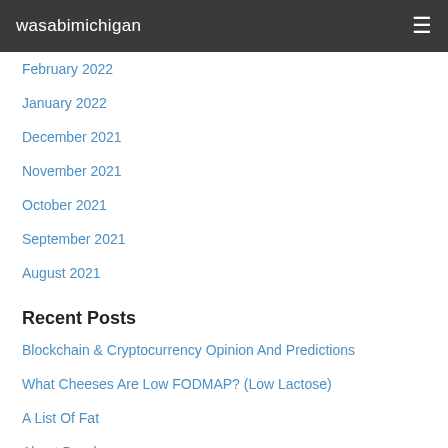wasabimichigan
February 2022
January 2022
December 2021
November 2021
October 2021
September 2021
August 2021
Recent Posts
Blockchain & Cryptocurrency Opinion And Predictions
What Cheeses Are Low FODMAP? (Low Lactose)
A List Of Fat
About Buzzle
Wellness Mama